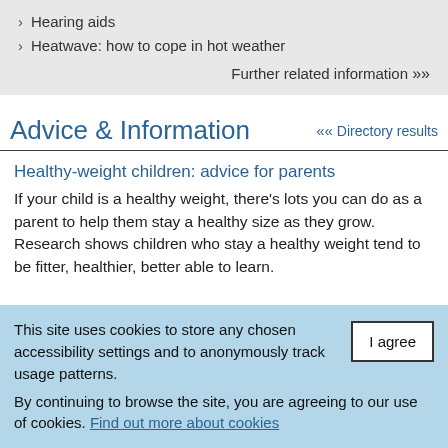Hearing aids
Heatwave: how to cope in hot weather
Further related information ▶▶
Advice & Information   ◀◀ Directory results
Healthy-weight children: advice for parents
If your child is a healthy weight, there's lots you can do as a parent to help them stay a healthy size as they grow. Research shows children who stay a healthy weight tend to be fitter, healthier, better able to learn.
This site uses cookies to store any chosen accessibility settings and to anonymously track usage patterns.
By continuing to browse the site, you are agreeing to our use of cookies. Find out more about cookies